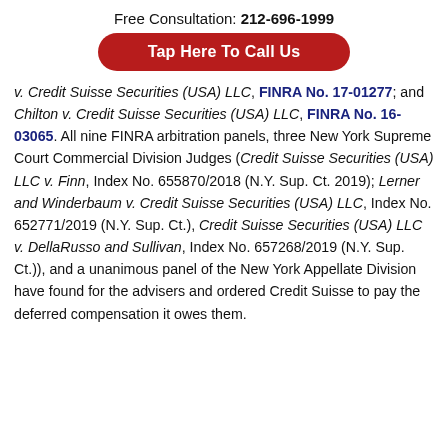Free Consultation: 212-696-1999
Tap Here To Call Us
v. Credit Suisse Securities (USA) LLC, FINRA No. 17-01277; and Chilton v. Credit Suisse Securities (USA) LLC, FINRA No. 16-03065. All nine FINRA arbitration panels, three New York Supreme Court Commercial Division Judges (Credit Suisse Securities (USA) LLC v. Finn, Index No. 655870/2018 (N.Y. Sup. Ct. 2019); Lerner and Winderbaum v. Credit Suisse Securities (USA) LLC, Index No. 652771/2019 (N.Y. Sup. Ct.), Credit Suisse Securities (USA) LLC v. DellaRusso and Sullivan, Index No. 657268/2019 (N.Y. Sup. Ct.)), and a unanimous panel of the New York Appellate Division have found for the advisers and ordered Credit Suisse to pay the deferred compensation it owes them.